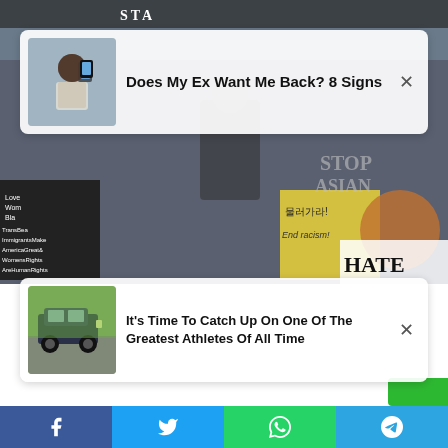[Figure (photo): Background photo of protest/demonstration with signs including 'Stop Asian Hate', Korean text '물러가라!', 'End racism!', and other protest signs. People holding signs and wearing masks.]
[Figure (screenshot): Ad card 1: thumbnail of woman taking photo with phone. Title: Does My Ex Want Me Back? 8 Signs. Close button (X).]
[Figure (screenshot): Ad card 2: thumbnail of SUV on road. Title: It's Time To Catch Up On One Of The Greatest Athletes Of All Time. Close button (X).]
[Figure (infographic): Social share bar at bottom with Facebook, Twitter, WhatsApp, and Telegram icons on colored backgrounds (blue, light blue, green, cyan).]